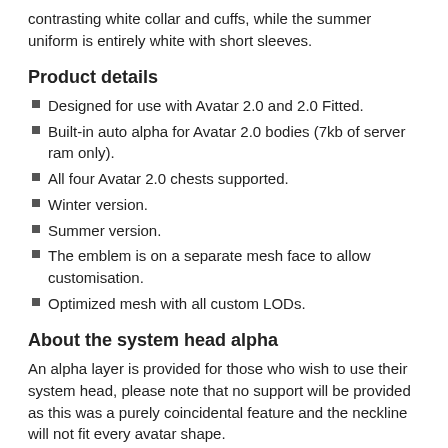contrasting white collar and cuffs, while the summer uniform is entirely white with short sleeves.
Product details
Designed for use with Avatar 2.0 and 2.0 Fitted.
Built-in auto alpha for Avatar 2.0 bodies (7kb of server ram only).
All four Avatar 2.0 chests supported.
Winter version.
Summer version.
The emblem is on a separate mesh face to allow customisation.
Optimized mesh with all custom LODs.
About the system head alpha
An alpha layer is provided for those who wish to use their system head, please note that no support will be provided as this was a purely coincidental feature and the neckline will not fit every avatar shape.